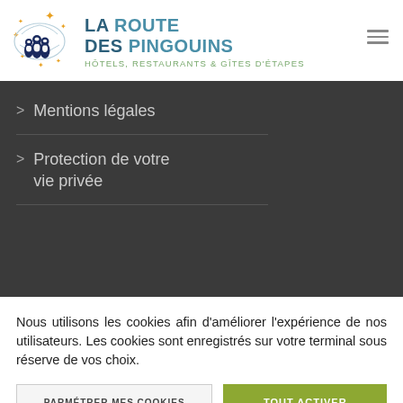[Figure (logo): La Route des Pingouins logo with penguins and orange stars, text 'La Route des Pingouins – Hôtels, Restaurants & gîtes d'étapes']
> Mentions légales
> Protection de votre vie privée
Nous utilisons les cookies afin d'améliorer l'expérience de nos utilisateurs. Les cookies sont enregistrés sur votre terminal sous réserve de vos choix.
PARMÉTRER MES COOKIES
TOUT ACTIVER
TOUT REFUSER